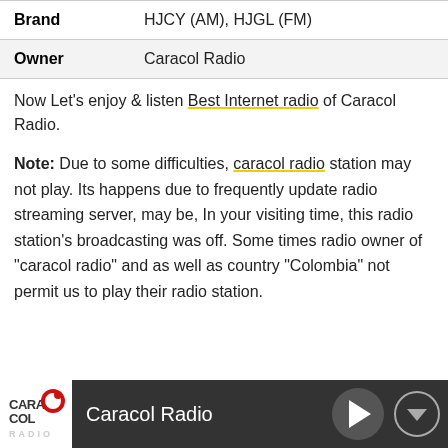| Brand | HJCY (AM), HJGL (FM) |
| Owner | Caracol Radio |
Now Let's enjoy & listen Best Internet radio of Caracol Radio.
Note: Due to some difficulties, caracol radio station may not play. Its happens due to frequently update radio streaming server, may be, In your visiting time, this radio station's broadcasting was off. Some times radio owner of "caracol radio" and as well as country "Colombia" not permit us to play their radio station.
[Figure (screenshot): Bottom player bar with Caracol Radio logo, station name, play button, and download button on dark background]